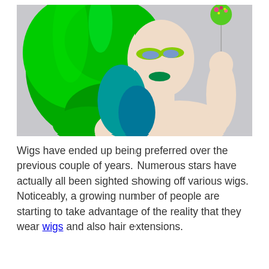[Figure (photo): A woman with vivid green wavy hair and green theatrical makeup including green lipstick and eye shadow, bare shoulders, holding up a round green lollipop with pink and yellow sprinkles on a stick, against a light grey background.]
Wigs have ended up being preferred over the previous couple of years. Numerous stars have actually all been sighted showing off various wigs. Noticeably, a growing number of people are starting to take advantage of the reality that they wear wigs and also hair extensions.